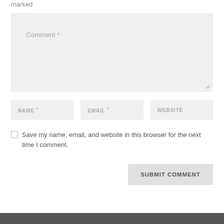marked
Comment *
NAME *
EMAIL *
WEBSITE
Save my name, email, and website in this browser for the next time I comment.
SUBMIT COMMENT